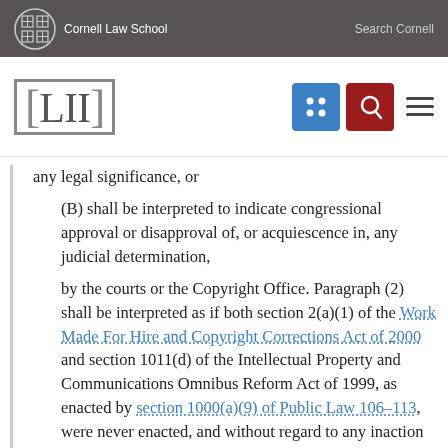Cornell Law School | Search Cornell
[Figure (logo): LII (Legal Information Institute) Cornell Law School navigation header with blue grid icon, red search icon, and hamburger menu]
any legal significance, or
(B) shall be interpreted to indicate congressional approval or disapproval of, or acquiescence in, any judicial determination,
by the courts or the Copyright Office. Paragraph (2) shall be interpreted as if both section 2(a)(1) of the Work Made For Hire and Copyright Corrections Act of 2000 and section 1011(d) of the Intellectual Property and Communications Omnibus Reform Act of 1999, as enacted by section 1000(a)(9) of Public Law 106–113, were never enacted, and without regard to any inaction or